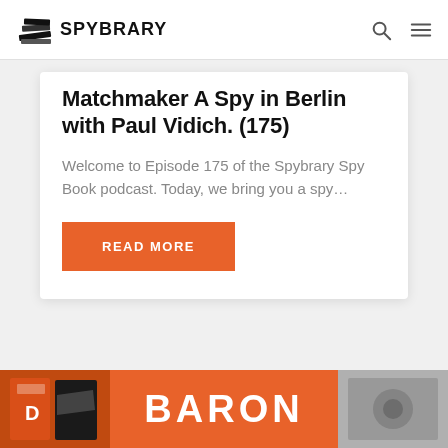SPYBRARY
Matchmaker A Spy in Berlin with Paul Vidich. (175)
Welcome to Episode 175 of the Spybrary Spy Book podcast. Today, we bring you a spy…
READ MORE
[Figure (photo): Bottom strip showing orange background with BARON text and book covers]